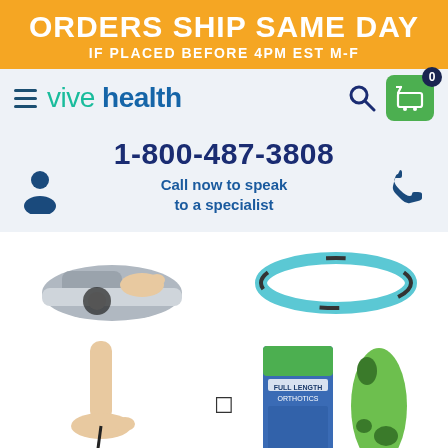ORDERS SHIP SAME DAY
IF PLACED BEFORE 4PM EST M-F
[Figure (logo): Vive Health logo with hamburger menu, search icon, and shopping cart icon showing 0 items]
1-800-487-3808
Call now to speak to a specialist
[Figure (photo): Four product images: foot massager device, blue exercise strap, foot with massage ball on stick, and full length orthotics insoles package with green insole]
Total price: $ 154.94